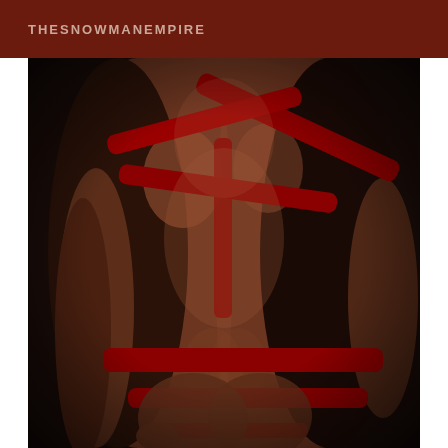THESNOWMANEMPIRE
[Figure (photo): Close-up back view of a muscular male torso wearing red harness straps crossing over the back and red underwear/jockstrap, photographed against a dark background with dramatic lighting.]